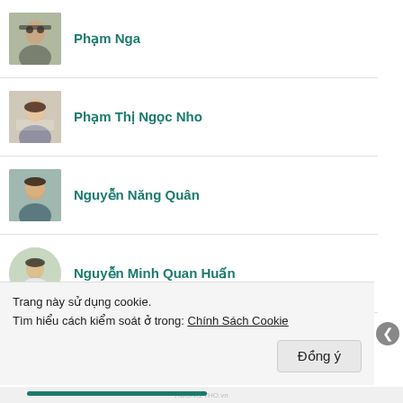Phạm Nga
Phạm Thị Ngọc Nho
Nguyễn Năng Quân
Nguyễn Minh Quan Huấn
Bùi Thị Ánh Quyên
Quỳnh Ánh Nguyễn
Trang này sử dụng cookie.
Tìm hiểu cách kiểm soát ở trong: Chính Sách Cookie
Đồng ý